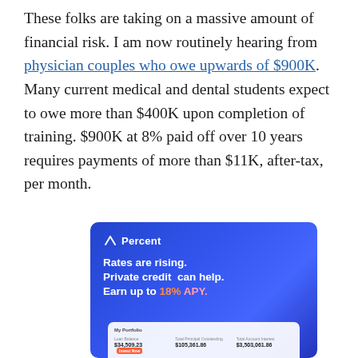These folks are taking on a massive amount of financial risk. I am now routinely hearing from physician couples who owe upwards of $900K. Many current medical and dental students expect to owe more than $400K upon completion of training. $900K at 8% paid off over 10 years requires payments of more than $11K, after-tax, per month.
[Figure (infographic): Advertisement for Percent financial service. Blue gradient background with logo 'Percent' and text: 'Rates are rising. Private credit can help. Earn up to 18% APY.' Shows a portfolio card UI with values $34,509.23, $105,361.86, $3,503,061.86.]